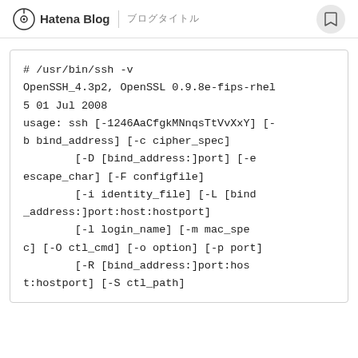Hatena Blog | ブログタイトル
# /usr/bin/ssh -v
OpenSSH_4.3p2, OpenSSL 0.9.8e-fips-rhel5 01 Jul 2008
usage: ssh [-1246AaCfgkMNnqsTtVvXxY] [-b bind_address] [-c cipher_spec]
        [-D [bind_address:]port] [-e escape_char] [-F configfile]
        [-i identity_file] [-L [bind_address:]port:host:hostport]
        [-l login_name] [-m mac_spec] [-O ctl_cmd] [-o option] [-p port]
        [-R [bind_address:]port:host:hostport] [-S ctl_path]